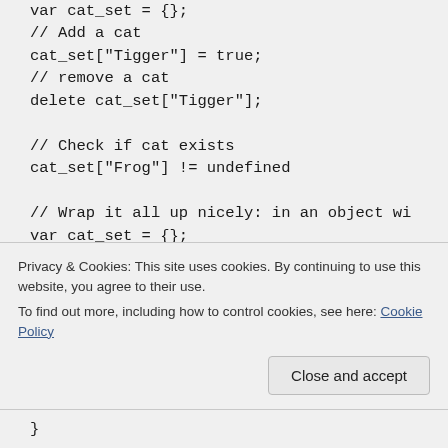var cat_set = {};
// Add a cat
cat_set["Tigger"] = true;
// remove a cat
delete cat_set["Tigger"];

// Check if cat exists
cat_set["Frog"] != undefined

// Wrap it all up nicely: in an object wi
var cat_set = {};
Privacy & Cookies: This site uses cookies. By continuing to use this website, you agree to their use.
To find out more, including how to control cookies, see here: Cookie Policy
Close and accept
}